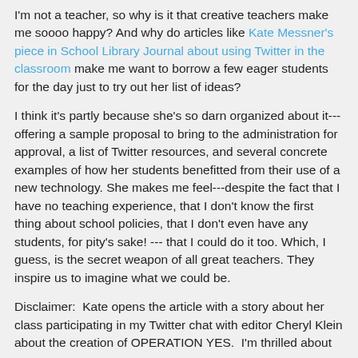I'm not a teacher, so why is it that creative teachers make me soooo happy? And why do articles like Kate Messner's piece in School Library Journal about using Twitter in the classroom make me want to borrow a few eager students for the day just to try out her list of ideas?
I think it's partly because she's so darn organized about it---offering a sample proposal to bring to the administration for approval, a list of Twitter resources, and several concrete examples of how her students benefitted from their use of a new technology. She makes me feel---despite the fact that I have no teaching experience, that I don't know the first thing about school policies, that I don't even have any students, for pity's sake! --- that I could do it too. Which, I guess, is the secret weapon of all great teachers. They inspire us to imagine what we could be.
Disclaimer:  Kate opens the article with a story about her class participating in my Twitter chat with editor Cheryl Klein about the creation of OPERATION YES.  I'm thrilled about that, but even without my book being mentioned, it would be a fantastic article. Go read!